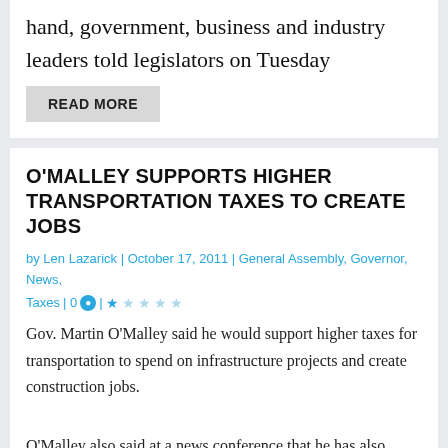hand, government, business and industry leaders told legislators on Tuesday
READ MORE
O'MALLEY SUPPORTS HIGHER TRANSPORTATION TAXES TO CREATE JOBS
by Len Lazarick | October 17, 2011 | General Assembly, Governor, News, Taxes | 0 💬 | ★★★★★
Gov. Martin O'Malley said he would support higher taxes for transportation to spend on infrastructure projects and create construction jobs.
O'Malley also said at a news conference that he has also ordered a 60-day review of all state regulations to